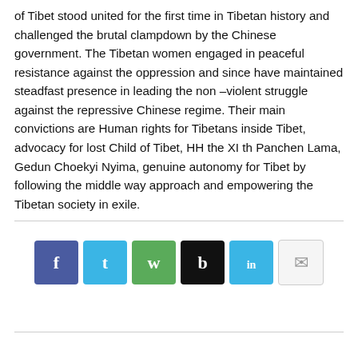of Tibet stood united for the first time in Tibetan history and challenged the brutal clampdown by the Chinese government. The Tibetan women engaged in peaceful resistance against the oppression and since have maintained steadfast presence in leading the non –violent struggle against the repressive Chinese regime. Their main convictions are Human rights for Tibetans inside Tibet, advocacy for lost Child of Tibet, HH the XI th Panchen Lama, Gedun Choekyi Nyima, genuine autonomy for Tibet by following the middle way approach and empowering the Tibetan society in exile.
[Figure (infographic): Row of six social media share buttons: Facebook (dark blue), Twitter (light blue), WhatsApp (green), a black button, LinkedIn (light blue), and an email/share button (white/light gray)]